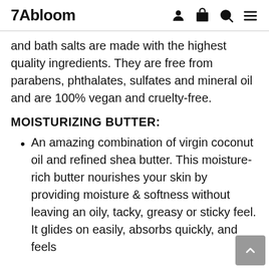7Abloom
and bath salts are made with the highest quality ingredients. They are free from parabens, phthalates, sulfates and mineral oil and are 100% vegan and cruelty-free.
MOISTURIZING BUTTER:
An amazing combination of virgin coconut oil and refined shea butter. This moisture-rich butter nourishes your skin by providing moisture & softness without leaving an oily, tacky, greasy or sticky feel. It glides on easily, absorbs quickly, and feels